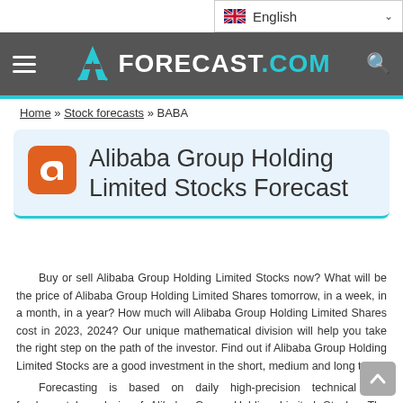English (language selector)
≡  FORECAST.COM  🔍
Home » Stock forecasts » BABA
Alibaba Group Holding Limited Stocks Forecast
Buy or sell Alibaba Group Holding Limited Stocks now? What will be the price of Alibaba Group Holding Limited Shares tomorrow, in a week, in a month, in a year? How much will Alibaba Group Holding Limited Shares cost in 2023, 2024? Our unique mathematical division will help you take the right step on the path of the investor. Find out if Alibaba Group Holding Limited Stocks are a good investment in the short, medium and long term.
    Forecasting is based on daily high-precision technical and fundamental analysis of Alibaba Group Holding Limited Stocks. The intelligent model allows you to predict tools with an accuracy of 95%, depending on the tool.